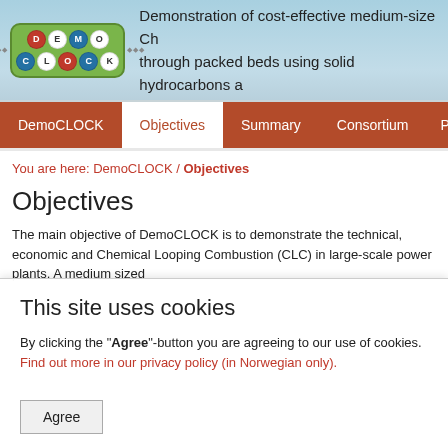Demonstration of cost-effective medium-size Ch... through packed beds using solid hydrocarbons ...
You are here: DemoCLOCK / Objectives
Objectives
The main objective of DemoCLOCK is to demonstrate the technical, economic and Chemical Looping Combustion (CLC) in large-scale power plants. A medium sized ...
This site uses cookies
By clicking the "Agree"-button you are agreeing to our use of cookies. Find out more in our privacy policy (in Norwegian only).
Agree